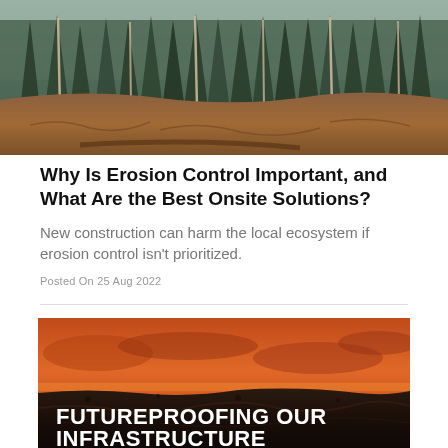[Figure (photo): A hillside with exposed brown eroded soil at the bottom and tall conifer trees with some dead/bare trunks in the background under a grey overcast sky]
Why Is Erosion Control Important, and What Are the Best Onsite Solutions?
New construction can harm the local ecosystem if erosion control isn't prioritized.
Posted On 25 Aug 2022
[Figure (photo): Aerial landscape under an orange-red sunset sky showing a burned or barren terrain with the text 'FUTUREPROOFING OUR INFRASTRUCTURE' overlaid in large bold white letters]